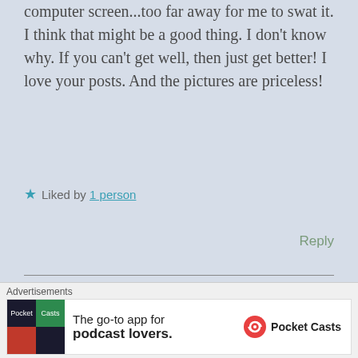computer screen...too far away for me to swat it. I think that might be a good thing. I don't know why. If you can't get well, then just get better! I love your posts. And the pictures are priceless!
★ Liked by 1 person
Reply
autistsix
December 10, 2016 at 2:36 pm
Thank you! It must be working because I'm feeling more positive. Again, thank you! Maybe that mosquito
Advertisements
The go-to app for podcast lovers. Pocket Casts